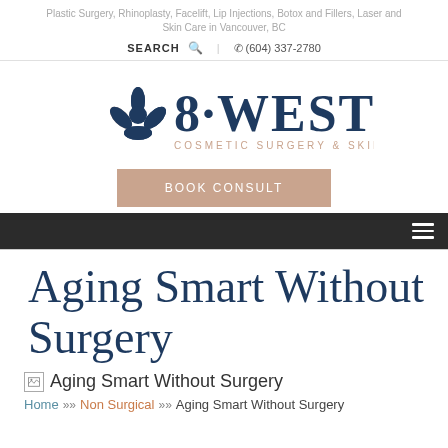Plastic Surgery, Rhinoplasty, Facelift, Lip Injections, Botox and Fillers, Laser and Skin Care in Vancouver, BC
SEARCH  (604) 337-2780
[Figure (logo): 8·WEST Cosmetic Surgery & Skin Clinic logo with decorative floral/leaf motif in dark navy and salmon/peach]
BOOK CONSULT
[Figure (other): Dark navigation bar with hamburger menu icon]
Aging Smart Without Surgery
[Figure (photo): Broken image placeholder: Aging Smart Without Surgery]
Home » Non Surgical » Aging Smart Without Surgery